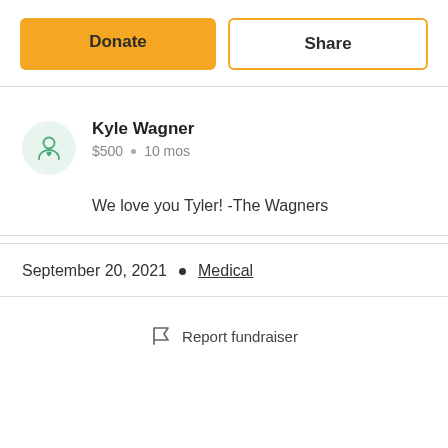[Figure (other): Donate and Share buttons at top of fundraiser page]
Kyle Wagner
$500 • 10 mos
We love you Tyler! -The Wagners
September 20, 2021 • Medical
Report fundraiser